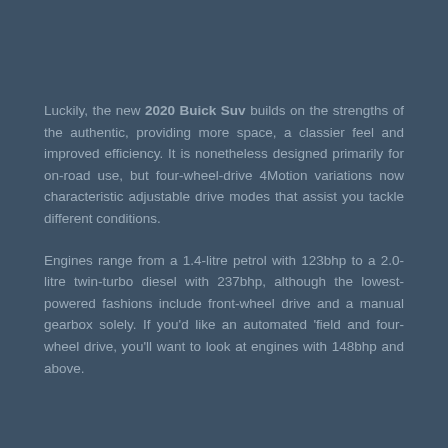Luckily, the new 2020 Buick Suv builds on the strengths of the authentic, providing more space, a classier feel and improved efficiency. It is nonetheless designed primarily for on-road use, but four-wheel-drive 4Motion variations now characteristic adjustable drive modes that assist you tackle different conditions.
Engines range from a 1.4-litre petrol with 123bhp to a 2.0-litre twin-turbo diesel with 237bhp, although the lowest-powered fashions include front-wheel drive and a manual gearbox solely. If you'd like an automated 'field and four-wheel drive, you'll want to look at engines with 148bhp and above.